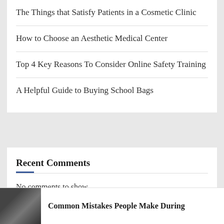The Things that Satisfy Patients in a Cosmetic Clinic
How to Choose an Aesthetic Medical Center
Top 4 Key Reasons To Consider Online Safety Training
A Helpful Guide to Buying School Bags
Recent Comments
No comments to show.
[Figure (photo): Small thumbnail photo of a person, dark toned image]
Common Mistakes People Make During